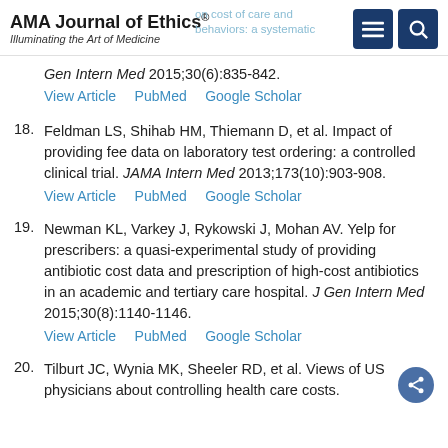AMA Journal of Ethics® Illuminating the Art of Medicine
Gen Intern Med 2015;30(6):835-842.
View Article   PubMed   Google Scholar
18. Feldman LS, Shihab HM, Thiemann D, et al. Impact of providing fee data on laboratory test ordering: a controlled clinical trial. JAMA Intern Med 2013;173(10):903-908.
View Article   PubMed   Google Scholar
19. Newman KL, Varkey J, Rykowski J, Mohan AV. Yelp for prescribers: a quasi-experimental study of providing antibiotic cost data and prescription of high-cost antibiotics in an academic and tertiary care hospital. J Gen Intern Med 2015;30(8):1140-1146.
View Article   PubMed   Google Scholar
20. Tilburt JC, Wynia MK, Sheeler RD, et al. Views of US physicians about controlling health care costs.